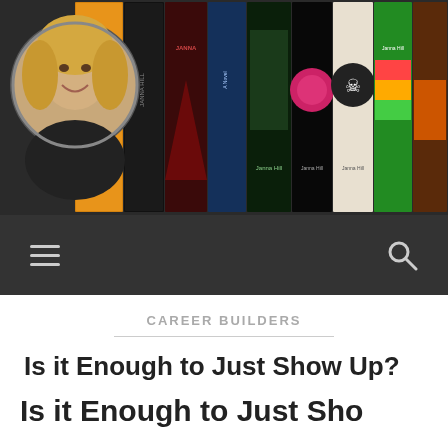[Figure (photo): Blog header banner showing author photo (circular crop of a smiling blonde woman) on left and a collage of book covers on right, on dark background]
Navigation bar with hamburger menu icon and search icon
CAREER BUILDERS
Is it Enough to Just Show Up?
DECEMBER 21, 2017 / 4 COMMENTS
Is it Enough to Just Sho...